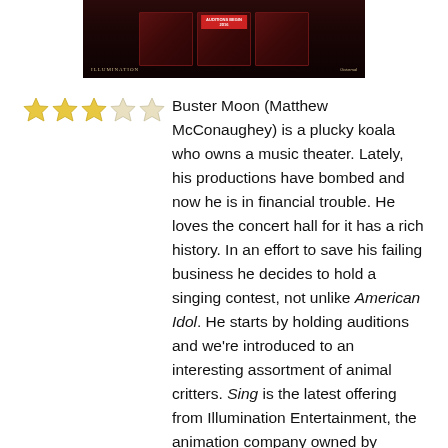[Figure (photo): Movie poster or promotional image for the animated film 'Sing' showing dark red theater doors with a red banner reading 'Auditions Begin 2016', with Illumination Entertainment and Universal Studios logos at the bottom.]
★★★☆☆ Buster Moon (Matthew McConaughey) is a plucky koala who owns a music theater. Lately, his productions have bombed and now he is in financial trouble. He loves the concert hall for it has a rich history. In an effort to save his failing business he decides to hold a singing contest, not unlike American Idol. He starts by holding auditions and we're introduced to an interesting assortment of animal critters. Sing is the latest offering from Illumination Entertainment, the animation company owned by Universal Studios. They scored big this Summer with The Secret Life of Pets and it looks as though they've got another major hit on their hands.